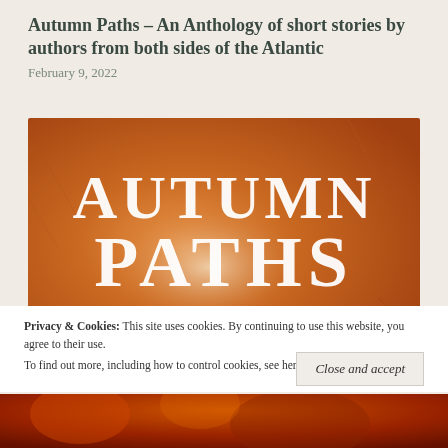Autumn Paths – An Anthology of short stories by authors from both sides of the Atlantic
February 9, 2022
[Figure (illustration): Book cover for 'Autumn Paths: An Anthology' — warm orange/amber textured background resembling autumn leaves, with large white serif text reading 'AUTUMN PATHS' and smaller text reading 'AN ANTHOLOGY']
Privacy & Cookies:  This site uses cookies. By continuing to use this website, you agree to their use.
To find out more, including how to control cookies, see here: Cookie Policy
Close and accept